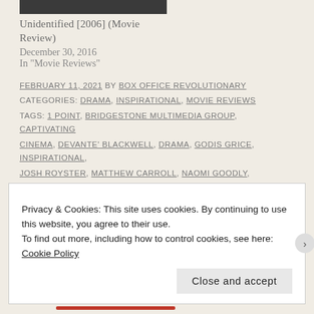[Figure (photo): Dark partial image at top of page, clipped]
Unidentified [2006] (Movie Review)
December 30, 2016
In "Movie Reviews"
FEBRUARY 11, 2021 BY BOX OFFICE REVOLUTIONARY
CATEGORIES: DRAMA, INSPIRATIONAL, MOVIE REVIEWS
TAGS: 1 POINT, BRIDGESTONE MULTIMEDIA GROUP, CAPTIVATING CINEMA, DEVANTE' BLACKWELL, DRAMA, GODIS GRICE, INSPIRATIONAL, JOSH ROYSTER, MATTHEW CARROLL, NAOMI GOODLY, THALANETI GRICE, TONI WINBUSH, TRAEVON ANTHONY, WILLIAM GUIDRY
LEAVE A COMMENT
Privacy & Cookies: This site uses cookies. By continuing to use this website, you agree to their use.
To find out more, including how to control cookies, see here: Cookie Policy